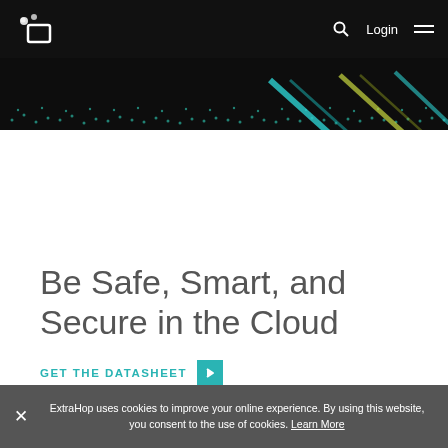ExtraHop logo, search, Login, menu
[Figure (illustration): Dark hero banner with teal dot-matrix network visualization and cyan/yellow diagonal lines on black background]
Be Safe, Smart, and Secure in the Cloud
GET THE DATASHEET
ExtraHop uses cookies to improve your online experience. By using this website, you consent to the use of cookies. Learn More